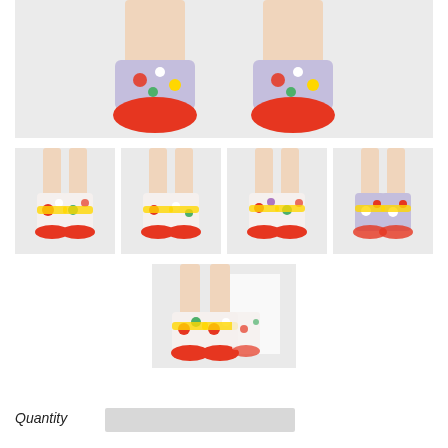[Figure (photo): Main hero photo showing two feet wearing floral socks with red toe caps and lavender/multicolor floral pattern on light background]
[Figure (photo): Thumbnail 1: legs wearing colorful floral crew socks with red toe and yellow cuff, front view]
[Figure (photo): Thumbnail 2: legs wearing colorful floral socks with red toe, slightly angled view]
[Figure (photo): Thumbnail 3: legs wearing colorful floral socks, side view]
[Figure (photo): Thumbnail 4: legs wearing colorful floral socks with lavender/multicolor floral pattern, angled view]
[Figure (photo): Thumbnail 5: legs wearing colorful floral socks with mirror reflection visible]
Quantity